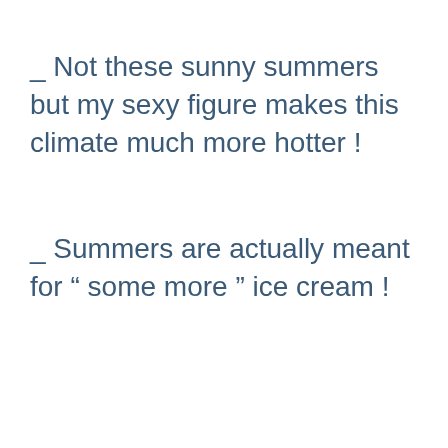_ Not these sunny summers but my sexy figure makes this climate much more hotter !
_ Summers are actually meant for “ some more ” ice cream !